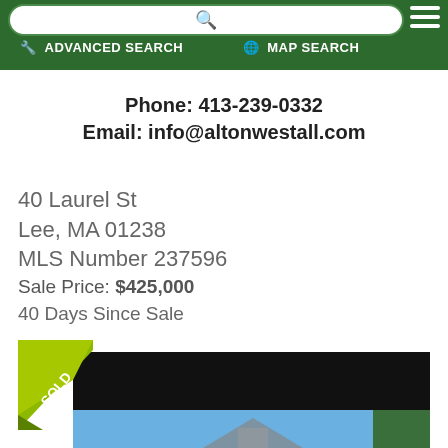ADVANCED SEARCH | MAP SEARCH
Phone: 413-239-0332
Email: info@altonwestall.com
40 Laurel St
Lee, MA 01238
MLS Number 237596
Sale Price: $425,000
40 Days Since Sale
[Figure (photo): Property photo of 40 Laurel St, Lee MA with SOLD banner overlay. Black loading bar partially visible over a house exterior with blue sky and trees.]